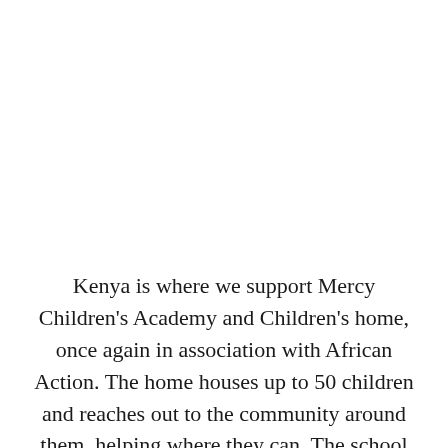Kenya is where we support Mercy Children's Academy and Children's home, once again in association with African Action. The home houses up to 50 children and reaches out to the community around them, helping where they can. The school has over 300 students and is in urgent need of brick buildings to replace the